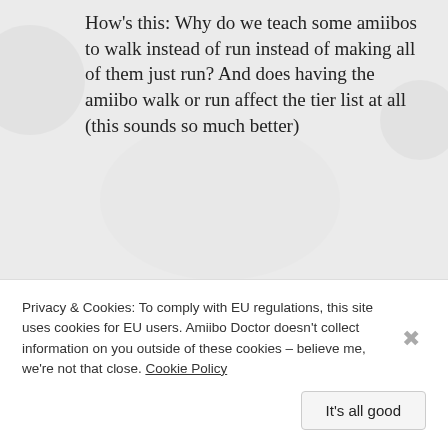How’s this: Why do we teach some amiibos to walk instead of run instead of making all of them just run? And does having the amiibo walk or run affect the tier list at all (this sounds so much better)
★ Like
∧ Reply
Lime
Privacy & Cookies: To comply with EU regulations, this site uses cookies for EU users. Amiibo Doctor doesn't collect information on you outside of these cookies – believe me, we're not that close. Cookie Policy
It’s all good